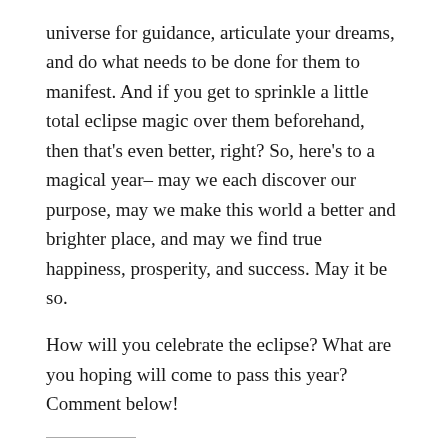universe for guidance, articulate your dreams, and do what needs to be done for them to manifest. And if you get to sprinkle a little total eclipse magic over them beforehand, then that’s even better, right? So, here’s to a magical year– may we each discover our purpose, may we make this world a better and brighter place, and may we find true happiness, prosperity, and success. May it be so.
How will you celebrate the eclipse? What are you hoping will come to pass this year? Comment below!
Share this:
Tweet  Post  SHARE